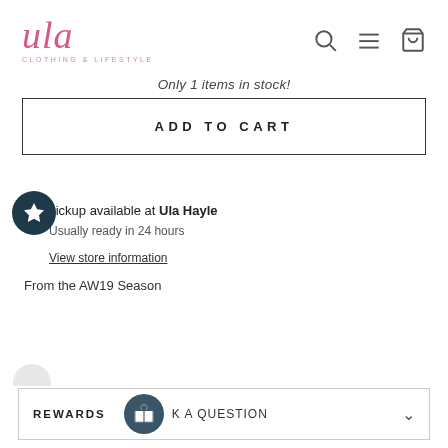ula CLOTHING & LIFESTYLE — navigation icons: search, menu, cart
Only 1 items in stock!
ADD TO CART
Pickup available at Ula Hayle
Usually ready in 24 hours
View store information
From the AW19 Season
REWARDS  K A QUESTION